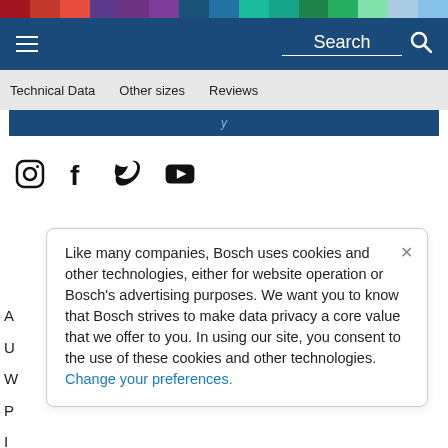Color bar navigation header with hamburger menu and Search text and icon
Technical Data  Other sizes  Reviews
[Figure (screenshot): Blue banner with partial italic text in light blue]
[Figure (infographic): Social media icons row: Instagram, Facebook, Twitter, YouTube]
Like many companies, Bosch uses cookies and other technologies, either for website operation or Bosch's advertising purposes. We want you to know that Bosch strives to make data privacy a core value that we offer to you. In using our site, you consent to the use of these cookies and other technologies. Change your preferences.